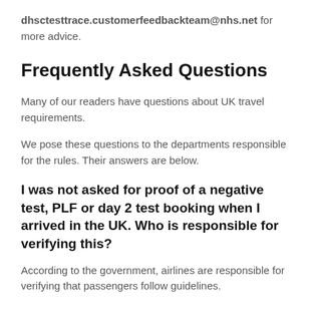dhsctesttrace.customerfeedbackteam@nhs.net for more advice.
Frequently Asked Questions
Many of our readers have questions about UK travel requirements.
We pose these questions to the departments responsible for the rules. Their answers are below.
I was not asked for proof of a negative test, PLF or day 2 test booking when I arrived in the UK. Who is responsible for verifying this?
According to the government, airlines are responsible for verifying that passengers follow guidelines.